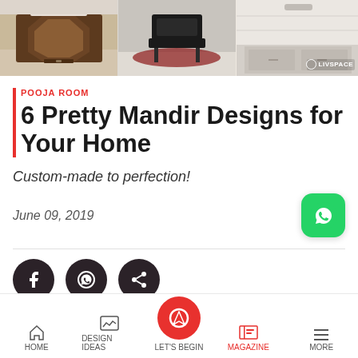[Figure (photo): Three interior design images in a horizontal strip at top: a wooden mandir/cabinet, a dark chair with rug, and a bathroom/kitchen counter. Livspace logo watermark on rightmost image.]
POOJA ROOM
6 Pretty Mandir Designs for Your Home
Custom-made to perfection!
June 09, 2019
[Figure (illustration): Social share icons: Facebook, WhatsApp, and Share buttons as dark circular icons]
“Thank God for all the blessings he has given
HOME   DESIGN IDEAS   LET'S BEGIN   MAGAZINE   MORE